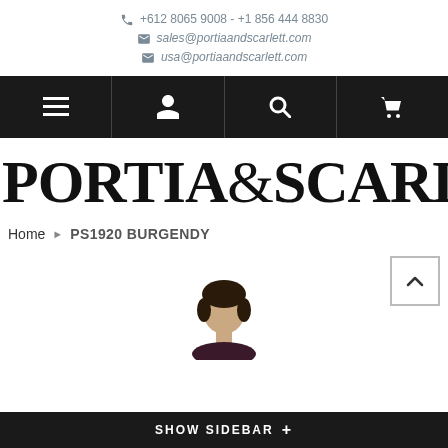+612 8065 9008 - +1 856 444 8830 | sales@portiaandscarlett.com | usa@portiaandscarlett.com
[Figure (screenshot): Navigation bar with menu, user, search, and cart icons on dark background]
PORTIA&SCARLETT
Home > PS1920 BURGENDY
[Figure (photo): Partial product photo of a model wearing the PS1920 BURGENDY dress, visible from shoulders up]
SHOW SIDEBAR +